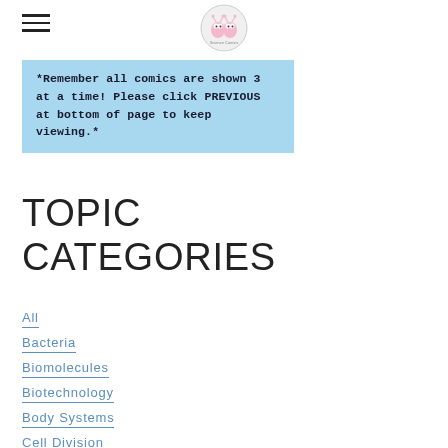[hamburger menu icon] [circular logo with pink characters]
*Remember all comics are shown 3 at a time! Please click PREVIOUS at bottom of page to keep viewing.*
TOPIC CATEGORIES
All
Bacteria
Biomolecules
Biotechnology
Body Systems
Cell Division
Cell Membrane
Cell...